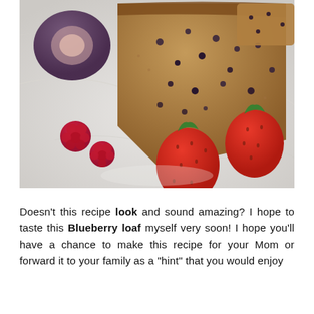[Figure (photo): A sliced blueberry loaf bread on a marble surface, surrounded by fresh strawberries, raspberries, and figs.]
Doesn't this recipe look and sound amazing? I hope to taste this Blueberry loaf myself very soon! I hope you'll have a chance to make this recipe for your Mom or forward it to your family as a "hint" that you would enjoy